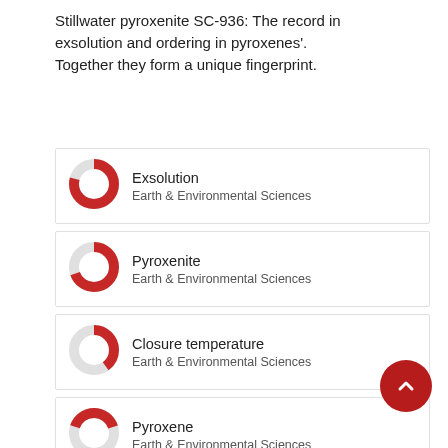Stillwater pyroxenite SC-936: The record in exsolution and ordering in pyroxenes'. Together they form a unique fingerprint.
Exsolution — Earth & Environmental Sciences
Pyroxenite — Earth & Environmental Sciences
Closure temperature — Earth & Environmental Sciences
Pyroxene — Earth & Environmental Sciences
Cooling — Chemical Compounds
Cooling